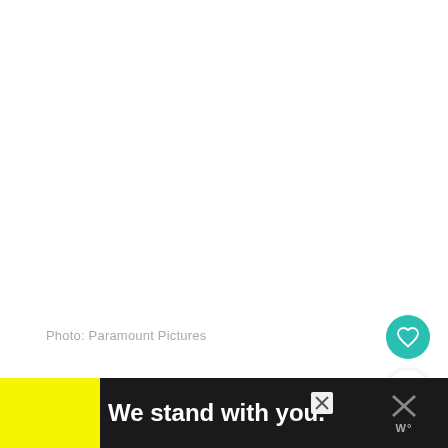Photo: Paramount Pictures
[Figure (screenshot): White empty space (image area, content not visible)]
[Figure (illustration): Teal circular heart/favorite button icon on right side]
[Figure (illustration): White circular share button with teal share icon]
[Figure (screenshot): Advertisement bar at bottom: yellow block, 'We stand with you.' text in white on dark background, purple block, close X button, and dark right section with X and weather icon]